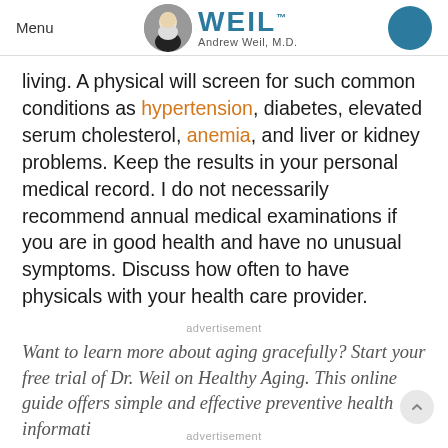Menu | WEIL™ Andrew Weil, M.D.
living. A physical will screen for such common conditions as hypertension, diabetes, elevated serum cholesterol, anemia, and liver or kidney problems. Keep the results in your personal medical record. I do not necessarily recommend annual medical examinations if you are in good health and have no unusual symptoms. Discuss how often to have physicals with your health care provider.
advertisement
Want to learn more about aging gracefully? Start your free trial of Dr. Weil on Healthy Aging. This online guide offers simple and effective preventive health informati…
advertisement